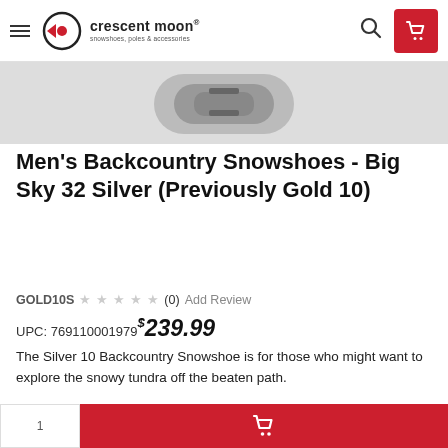crescent moon® snowshoes, poles & accessories
[Figure (photo): Partial product photo of snowshoe, cropped at top]
Men's Backcountry Snowshoes - Big Sky 32 Silver (Previously Gold 10)
GOLD10S ☆☆☆☆☆ (0) Add Review
UPC: 769110001979 $239.99
The Silver 10 Backcountry Snowshoe is for those who might want to explore the snowy tundra off the beaten path.